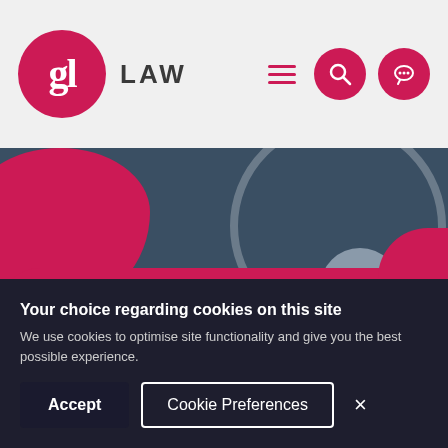[Figure (logo): GL Law logo — pink circle with 'gl' serif text, followed by 'LAW' in bold dark letters. Navigation icons: hamburger menu, search (pink circle), chat (pink circle).]
[Figure (illustration): Website hero banner with dark teal background, pink blob shapes, circle outline, and 'Services' label above large white 'Employment' heading. Green vertical tab on right edge with 'ors' text.]
Services
Employment
Your choice regarding cookies on this site
We use cookies to optimise site functionality and give you the best possible experience.
Accept
Cookie Preferences
×